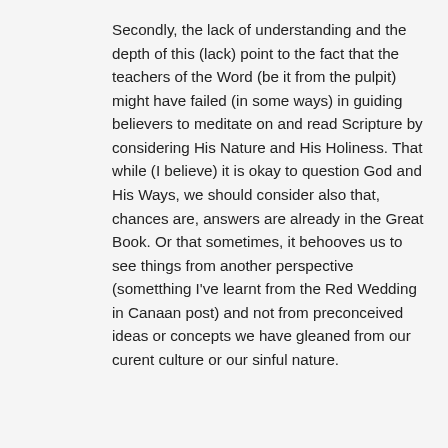Secondly, the lack of understanding and the depth of this (lack) point to the fact that the teachers of the Word (be it from the pulpit) might have failed (in some ways) in guiding believers to meditate on and read Scripture by considering His Nature and His Holiness. That while (I believe) it is okay to question God and His Ways, we should consider also that, chances are, answers are already in the Great Book. Or that sometimes, it behooves us to see things from another perspective (sometthing I've learnt from the Red Wedding in Canaan post) and not from preconceived ideas or concepts we have gleaned from our curent culture or our sinful nature.